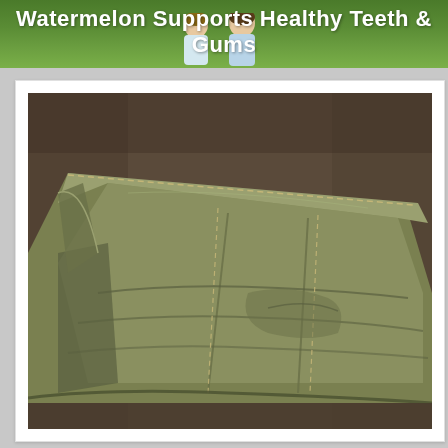[Figure (screenshot): Green promotional banner with white bold text 'Watermelon Supports Healthy Teeth & Gums' and children visible at bottom of banner]
[Figure (photo): Product photo of an olive/army green fabric item (appears to be a folded piece of clothing or textile such as trousers or a bag) laid flat on a dark brownish-gray surface, showing seams and stitching details]